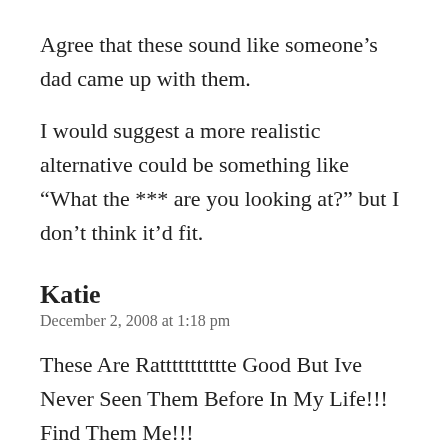Agree that these sound like someone's dad came up with them.
I would suggest a more realistic alternative could be something like “What the *** are you looking at?” but I don’t think it’d fit.
Katie
December 2, 2008 at 1:18 pm
These Are Rattttttttttte Good But Ive Never Seen Them Before In My Life!!! Find Them Me!!!
S